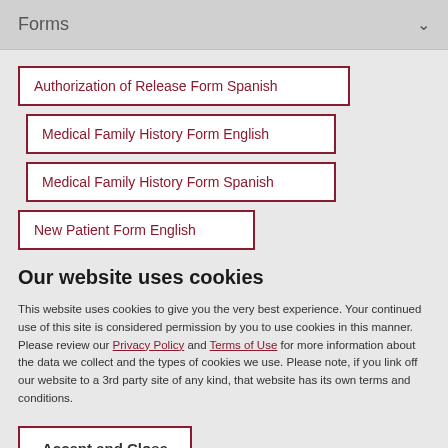Forms
Authorization of Release Form Spanish
Medical Family History Form English
Medical Family History Form Spanish
New Patient Form English
Our website uses cookies
This website uses cookies to give you the very best experience. Your continued use of this site is considered permission by you to use cookies in this manner. Please review our Privacy Policy and Terms of Use for more information about the data we collect and the types of cookies we use. Please note, if you link off our website to a 3rd party site of any kind, that website has its own terms and conditions.
Accept and Close